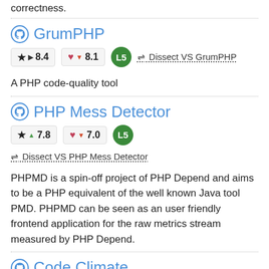correctness.
GrumPHP
★ ▶ 8.4   ♥ ▼ 8.1   L5   ⇌ Dissect VS GrumPHP
A PHP code-quality tool
PHP Mess Detector
★ ▲ 7.8   ♥ ▼ 7.0   L5   ⇌ Dissect VS PHP Mess Detector
PHPMD is a spin-off project of PHP Depend and aims to be a PHP equivalent of the well known Java tool PMD. PHPMD can be seen as an user friendly frontend application for the raw metrics stream measured by PHP Depend.
Code Climate